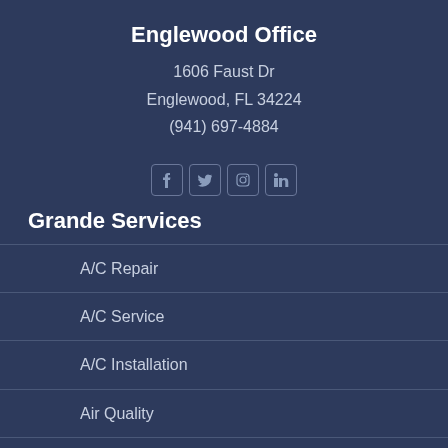Englewood Office
1606 Faust Dr
Englewood, FL 34224
(941) 697-4884
[Figure (infographic): Social media icons: Facebook, Twitter, Instagram, LinkedIn]
Grande Services
A/C Repair
A/C Service
A/C Installation
Air Quality
Appliance Repair
Refrigeration
Marine A/C
Agreements